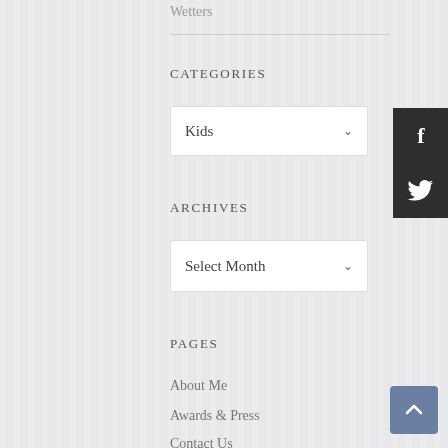Wetters
CATEGORIES
Kids
ARCHIVES
Select Month
PAGES
About Me
Awards & Press
Contact Us